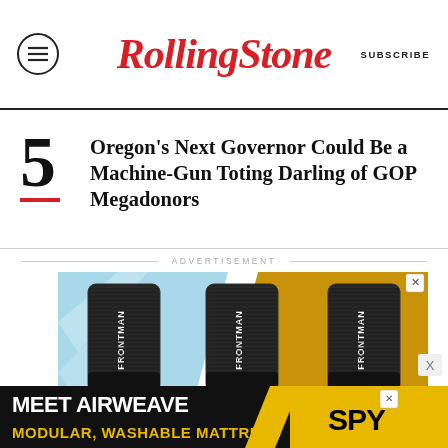RollingStone  SUBSCRIBE
Oregon's Next Governor Could Be a Machine-Gun Toting Darling of GOP Megadonors
ADVERTISEMENT
[Figure (photo): Three FRONTMAN product tubes on a colorful background (light blue, white, gold/orange)]
[Figure (photo): MEET AIRWEAVE MODULAR, WASHABLE MATTRESS advertisement with SPY branding on black and yellow background]